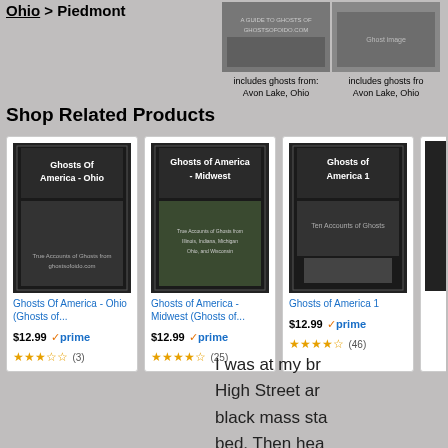Ohio > Piedmont
includes ghosts from: Avon Lake, Ohio
includes ghosts from: Avon Lake, Ohio
Shop Related Products
[Figure (other): Book cover: Ghosts Of America - Ohio]
Ghosts Of America - Ohio (Ghosts of...
$12.99 prime (3)
[Figure (other): Book cover: Ghosts of America - Midwest]
Ghosts of America - Midwest (Ghosts of...
$12.99 prime (25)
[Figure (other): Book cover: Ghosts of America 1]
Ghosts of America 1
$12.99 prime (46)
I was at my br High Street ar black mass sta bed. Then hea